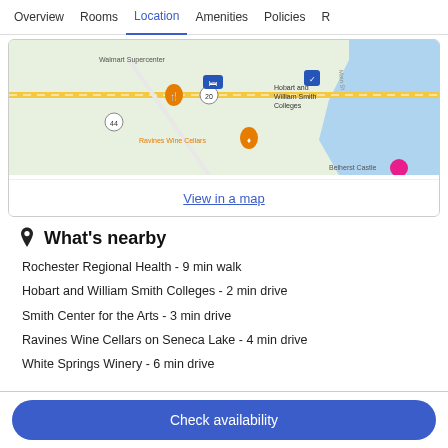Overview   Rooms   Location   Amenities   Policies   R
[Figure (map): Google Maps view showing area near Hobart and William Smith Colleges, Ravines Wine Cellars, Belherst Castle, Walmart Supercenter, with hotel pin marker near routes 20 and 44.]
View in a map
What's nearby
Rochester Regional Health - 9 min walk
Hobart and William Smith Colleges - 2 min drive
Smith Center for the Arts - 3 min drive
Ravines Wine Cellars on Seneca Lake - 4 min drive
White Springs Winery - 6 min drive
Check availability